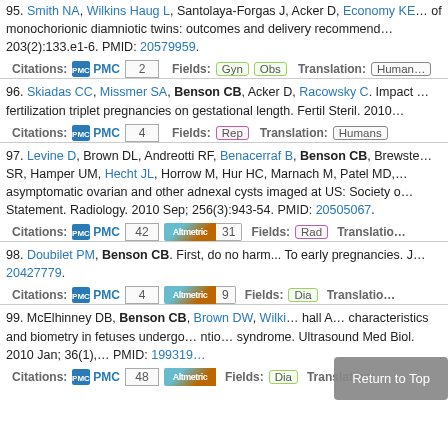95. Smith NA, Wilkins Haug L, Santolaya-Forgas J, Acker D, Economy KE. of monochorionic diamniotic twins: outcomes and delivery recommendations. 203(2):133.e1-6. PMID: 20579959.
Citations: PMC 2 Fields: Gyn Obs Translation: Humans
96. Skiadas CC, Missmer SA, Benson CB, Acker D, Racowsky C. Impact fertilization triplet pregnancies on gestational length. Fertil Steril. 2010
Citations: PMC 4 Fields: Rep Translation: Humans
97. Levine D, Brown DL, Andreotti RF, Benacerraf B, Benson CB, Brewste SR, Hamper UM, Hecht JL, Horrow M, Hur HC, Marnach M, Patel MD, asymptomatic ovarian and other adnexal cysts imaged at US: Society Statement. Radiology. 2010 Sep; 256(3):943-54. PMID: 20505067.
Citations: PMC 42 Altmetric 31 Fields: Rad Translation:
98. Doubilet PM, Benson CB. First, do no harm... To early pregnancies. J 20427779.
Citations: PMC 4 Altmetric 9 Fields: Dia Translation:
99. McElhinney DB, Benson CB, Brown DW, Wilki hall A characteristics and biometry in fetuses undergo ntio syndrome. Ultrasound Med Biol. 2010 Jan; 36(1), PMID: 199319
Citations: PMC 48 Altmetric Fields: Dia Translation: